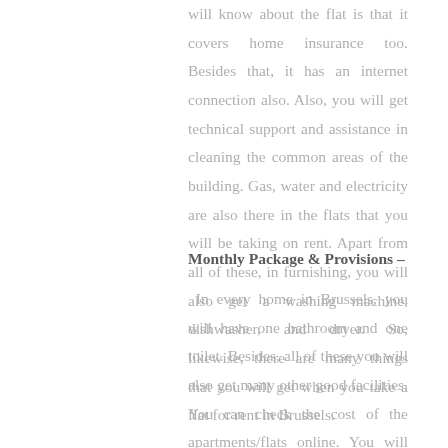will know about the flat is that it covers home insurance too. Besides that, it has an internet connection also. Also, you will get technical support and assistance in cleaning the common areas of the building. Gas, water and electricity are also there in the flats that you will be taking on rent. Apart from all of these, in furnishing, you will also get a washing machine, dishwasher, and dryer. So, likewise, there are many things that you will get when you take a flat for rent in Brussels.
Monthly Package & Provisions –
In every home in Brussels, you will have one bathroom and one toilet. Besides, all of these you will also get many other good facilities. You can check the cost of the apartments/flats online. You will have to pay the rent